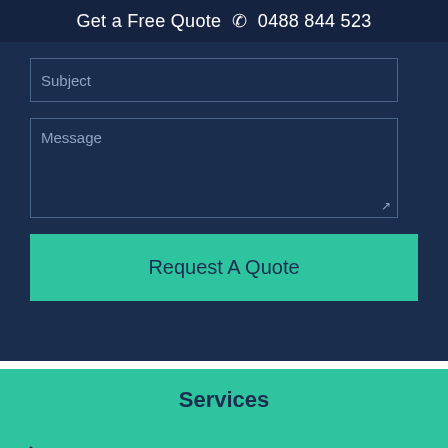Get a Free Quote ☎ 0488 844 523
Subject
Message
Request A Quote
Services
Carpet Cleaning Brisbane
Carpet Repair Brisbane
Cleaning Services Brisbane